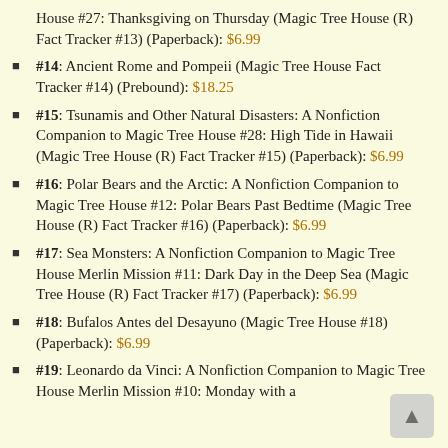House #27: Thanksgiving on Thursday (Magic Tree House (R) Fact Tracker #13) (Paperback): $6.99
#14: Ancient Rome and Pompeii (Magic Tree House Fact Tracker #14) (Prebound): $18.25
#15: Tsunamis and Other Natural Disasters: A Nonfiction Companion to Magic Tree House #28: High Tide in Hawaii (Magic Tree House (R) Fact Tracker #15) (Paperback): $6.99
#16: Polar Bears and the Arctic: A Nonfiction Companion to Magic Tree House #12: Polar Bears Past Bedtime (Magic Tree House (R) Fact Tracker #16) (Paperback): $6.99
#17: Sea Monsters: A Nonfiction Companion to Magic Tree House Merlin Mission #11: Dark Day in the Deep Sea (Magic Tree House (R) Fact Tracker #17) (Paperback): $6.99
#18: Bufalos Antes del Desayuno (Magic Tree House #18) (Paperback): $6.99
#19: Leonardo da Vinci: A Nonfiction Companion to Magic Tree House Merlin Mission #10: Monday with a